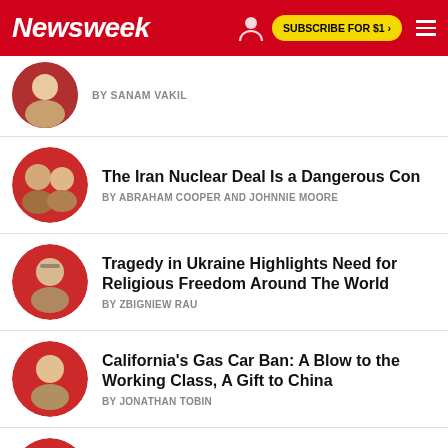Newsweek | SUBSCRIBE FOR $1 >
BY SANAM VAKIL
The Iran Nuclear Deal Is a Dangerous Con
BY ABRAHAM COOPER AND JOHNNIE MOORE
Tragedy in Ukraine Highlights Need for Religious Freedom Around The World
BY ZBIGNIEW RAU
California's Gas Car Ban: A Blow to the Working Class, A Gift to China
BY JONATHAN TOBIN
Student Loan Cancellation is Unjust
BY ZACHARY METTLER
Resilience is the Secret of Successful Cities